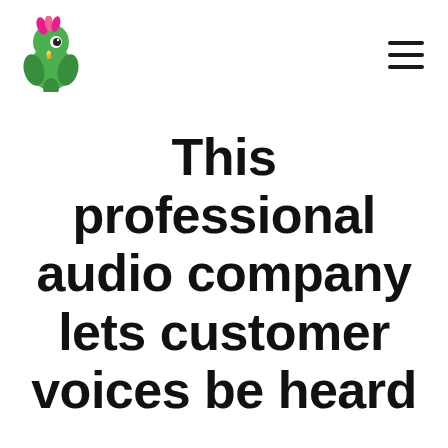[Figure (logo): Green parrot logo with pink head feathers, facing left]
[Figure (other): Hamburger menu icon (three horizontal lines)]
This professional audio company lets customer voices be heard